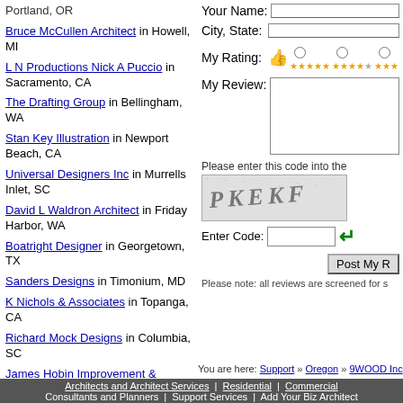Portland, OR
Bruce McCullen Architect in Howell, MI
L N Productions Nick A Puccio in Sacramento, CA
The Drafting Group in Bellingham, WA
Stan Key Illustration in Newport Beach, CA
Universal Designers Inc in Murrells Inlet, SC
David L Waldron Architect in Friday Harbor, WA
Boatright Designer in Georgetown, TX
Sanders Designs in Timonium, MD
K Nichols & Associates in Topanga, CA
Richard Mock Designs in Columbia, SC
James Hobin Improvement & Additions in Clifton, NJ
Hailey Smith in Maitland, FL
Shadion Associates in Cary, NC
Your Name: [input]
City, State: [input]
My Rating: [radio options with stars]
My Review: [textarea]
Please enter this code into the [captcha image PKEKF]
Enter Code: [input] [arrow]
Post My [button]
Please note: all reviews are screened for s
You are here: Support » Oregon » 9WOOD Inc
Architects and Architect Services | Residential | Commercial
Consultants and Planners | Support Services | Add Your Biz Architect